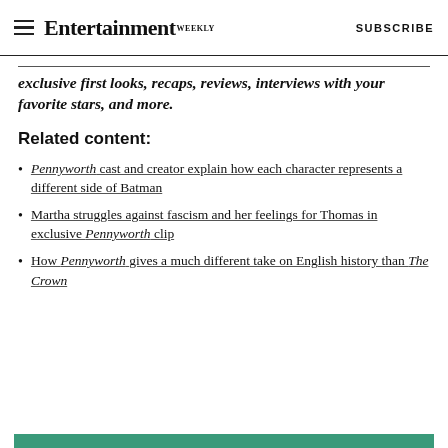Entertainment Weekly — SUBSCRIBE
exclusive first looks, recaps, reviews, interviews with your favorite stars, and more.
Related content:
Pennyworth cast and creator explain how each character represents a different side of Batman
Martha struggles against fascism and her feelings for Thomas in exclusive Pennyworth clip
How Pennyworth gives a much different take on English history than The Crown